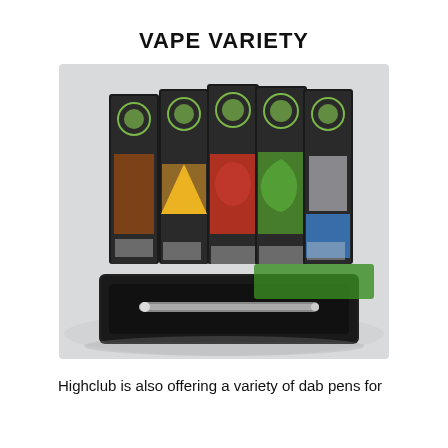VAPE VARIETY
[Figure (photo): Five colorful vape/dab pen boxes (Gorilla Biscuit, Lemon, Strawberry, Cannatonic, Wedding Cake flavors) displayed standing upright, with a black open box containing a dab pen in front of them, all on a white background.]
Highclub is also offering a variety of dab pens for